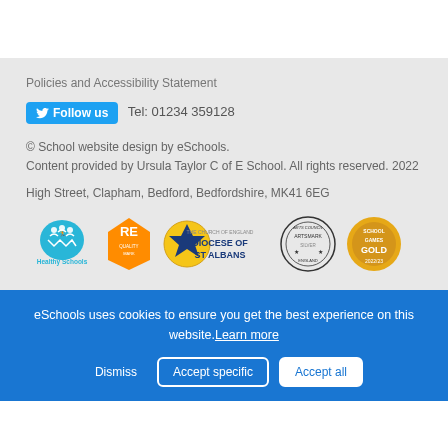Policies and Accessibility Statement
Follow us  Tel: 01234 359128
© School website design by eSchools.
Content provided by Ursula Taylor C of E School. All rights reserved. 2022
High Street, Clapham, Bedford, Bedfordshire, MK41 6EG
[Figure (logo): Row of school accreditation logos: Healthy Schools, RE Quality Mark, Diocese of St Albans (Church of England), Arts Council England Artsmark Silver, School Games Gold]
eSchools uses cookies to ensure you get the best experience on this website. Learn more
Dismiss  Accept specific  Accept all